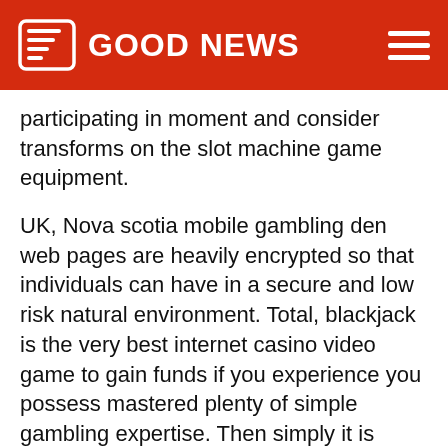GOOD NEWS
participating in moment and consider transforms on the slot machine game equipment.
UK, Nova scotia mobile gambling den web pages are heavily encrypted so that individuals can have in a secure and low risk natural environment. Total, blackjack is the very best internet casino video game to gain funds if you experience you possess mastered plenty of simple gambling expertise. Then simply it is moment to play the 50 Lions video slot match developed simply by Aristocrat Technologies.